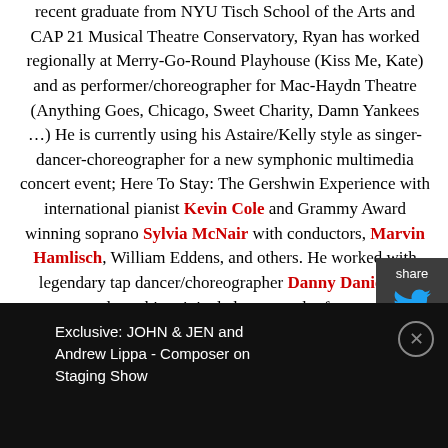recent graduate from NYU Tisch School of the Arts and CAP 21 Musical Theatre Conservatory, Ryan has worked regionally at Merry-Go-Round Playhouse (Kiss Me, Kate) and as performer/choreographer for Mac-Haydn Theatre (Anything Goes, Chicago, Sweet Charity, Damn Yankees …) He is currently using his Astaire/Kelly style as singer-dancer-choreographer for a new symphonic multimedia concert event; Here To Stay: The Gershwin Experience with international pianist Kevin Cole and Grammy Award winning soprano Sylvia McNair with conductors, Marvin Hamlisch, William Eddens, and others. He worked with legendary tap dancer/choreographer Danny Daniels to learn his original choreography for
Exclusive: JOHN & JEN and Andrew Lippa - Composer on Staging Show